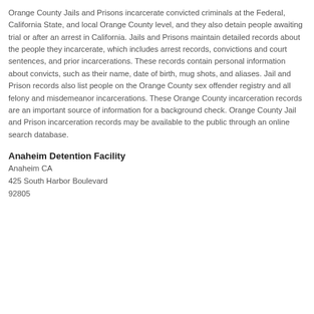Orange County Jails and Prisons incarcerate convicted criminals at the Federal, California State, and local Orange County level, and they also detain people awaiting trial or after an arrest in California. Jails and Prisons maintain detailed records about the people they incarcerate, which includes arrest records, convictions and court sentences, and prior incarcerations. These records contain personal information about convicts, such as their name, date of birth, mug shots, and aliases. Jail and Prison records also list people on the Orange County sex offender registry and all felony and misdemeanor incarcerations. These Orange County incarceration records are an important source of information for a background check. Orange County Jail and Prison incarceration records may be available to the public through an online search database.
Anaheim Detention Facility
Anaheim CA
425 South Harbor Boulevard
92805